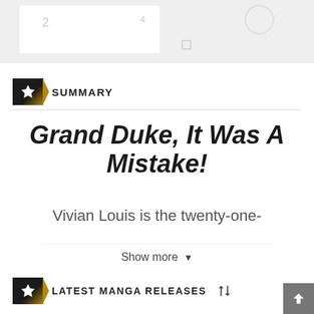[Figure (screenshot): Top gray area showing partial UI/manga cover image background]
SUMMARY
Grand Duke, It Was A Mistake!
Vivian Louis is the twenty-one-
Show more
LATEST MANGA RELEASES